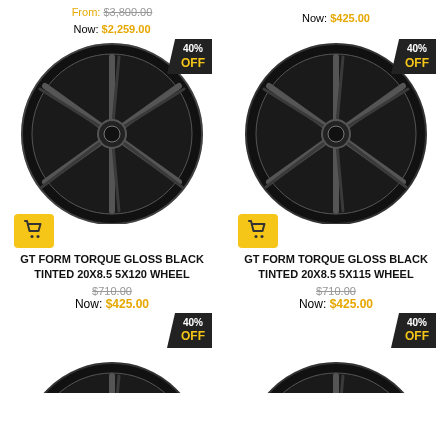From: $3,800.00
Now: $2,259.00
Now: $425.00
[Figure (photo): GT Form Torque Gloss Black Tinted wheel, left product, 40% OFF badge]
[Figure (photo): GT Form Torque Gloss Black Tinted wheel, right product, 40% OFF badge]
GT FORM TORQUE GLOSS BLACK TINTED 20X8.5 5X120 WHEEL
GT FORM TORQUE GLOSS BLACK TINTED 20X8.5 5X115 WHEEL
$710.00
Now: $425.00
$710.00
Now: $425.00
[Figure (photo): GT Form wheel, bottom-left, 40% OFF badge, partially visible]
[Figure (photo): GT Form wheel, bottom-right, 40% OFF badge, partially visible]